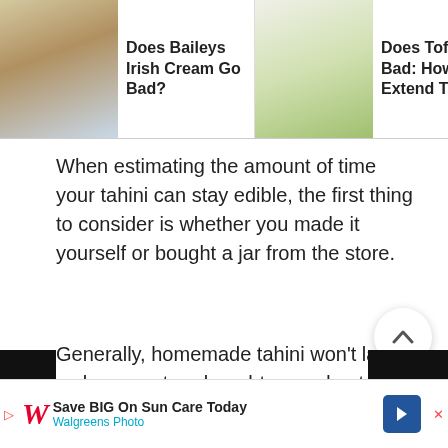[Figure (screenshot): Navigation bar with three article thumbnails and titles: 'Does Baileys Irish Cream Go Bad?', 'Does Tofu Go Bad: How To Extend Tofu'...', 'Does Kimo Go Bad?' with a right arrow]
When estimating the amount of time your tahini can stay edible, the first thing to consider is whether you made it yourself or bought a jar from the store.
Generally, homemade tahini won't last as long as store-bought ones due to the lack of preservatives
It is recommended to consume homemade tahini
[Figure (screenshot): Bottom advertisement bar: Walgreens 'Save BIG On Sun Care Today' ad with Walgreens Photo text below, navigation arrow icon on right]